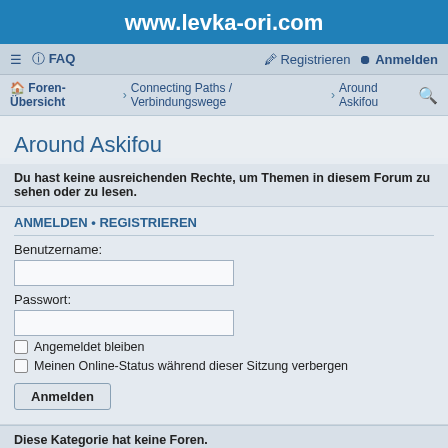www.levka-ori.com
≡  FAQ    Registrieren  Anmelden
Foren-Übersicht › Connecting Paths / Verbindungswege › Around Askifou
Around Askifou
Du hast keine ausreichenden Rechte, um Themen in diesem Forum zu sehen oder zu lesen.
ANMELDEN • REGISTRIEREN
Benutzername:
Passwort:
Angemeldet bleiben
Meinen Online-Status während dieser Sitzung verbergen
Anmelden
Diese Kategorie hat keine Foren.
Gehe zu